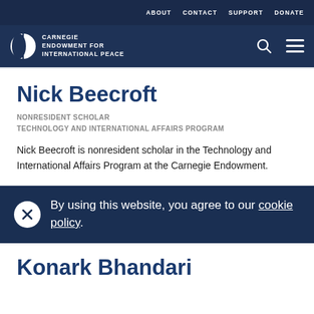ABOUT  CONTACT  SUPPORT  DONATE
[Figure (logo): Carnegie Endowment for International Peace logo with globe icon and navigation icons (search, hamburger menu)]
Nick Beecroft
NONRESIDENT SCHOLAR
TECHNOLOGY AND INTERNATIONAL AFFAIRS PROGRAM
Nick Beecroft is nonresident scholar in the Technology and International Affairs Program at the Carnegie Endowment.
By using this website, you agree to our cookie policy.
Konark Bhandari